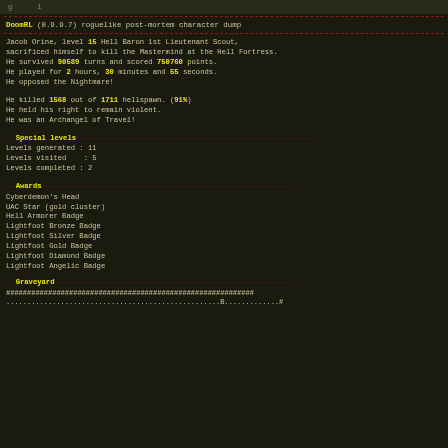DoomRL (0.9.9.7) roguelike post-mortem character dump
Jacob Orine, level 15 Hell Baron 1st Lieutenant Scout, sacrificed himself to kill the Mastermind at the Hell Fortress. He survived 90589 turns and scored 750760 points. He played for 2 hours, 30 minutes and 55 seconds. He opposed the Nightmare!
He killed 1568 out of 1711 hellspawn. (91%) He held his right to remain violent. He was an Archangel of Travel!
Special levels
Levels generated : 11
Levels visited    : 5
Levels completed : 2
Awards
Cyberdemon's Head
UAC Star (gold cluster)
Hell Armorer Badge
Lightfoot Bronze Badge
Lightfoot Silver Badge
Lightfoot Gold Badge
Lightfoot Diamond Badge
Lightfoot Angelic Badge
Graveyard
###########################################################
...................................................B.............#